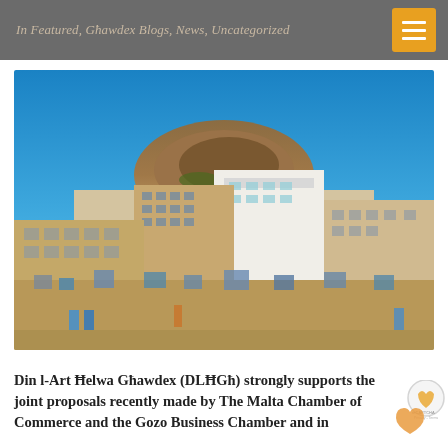In Featured, Għawdex Blogs, News, Uncategorized
[Figure (photo): Aerial/street-level view of densely packed limestone buildings in Gozo (Victoria/Rabat), Malta, with a rocky hilltop in the background under a clear blue sky.]
Din l-Art Ħelwa Għawdex (DLĦGħ) strongly supports the joint proposals recently made by The Malta Chamber of Commerce and the Gozo Business Chamber and in